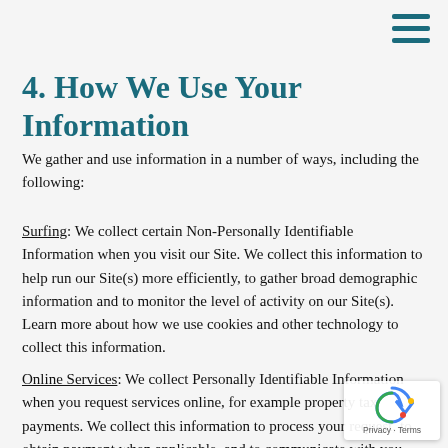≡ (hamburger menu icon)
4. How We Use Your Information
We gather and use information in a number of ways, including the following:
Surfing: We collect certain Non-Personally Identifiable Information when you visit our Site. We collect this information to help run our Site(s) more efficiently, to gather broad demographic information and to monitor the level of activity on our Site(s). Learn more about how we use cookies and other technology to collect this information.
Online Services: We collect Personally Identifiable Information when you request services online, for example property tax payments. We collect this information to process your request, to obtain payment when applicable, and to communicate with you about the status of your request.